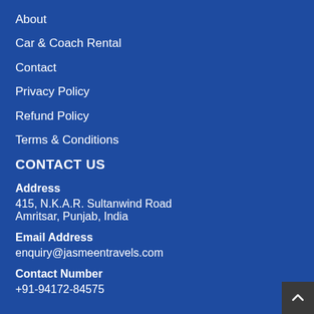About
Car & Coach Rental
Contact
Privacy Policy
Refund Policy
Terms & Conditions
CONTACT US
Address
415, N.K.A.R. Sultanwind Road
Amritsar, Punjab, India
Email Address
enquiry@jasmeentravels.com
Contact Number
+91-94172-84575